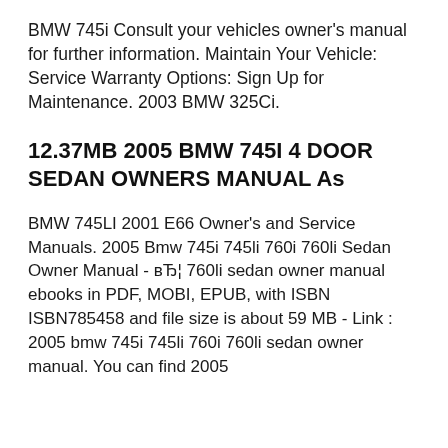BMW 745i Consult your vehicles owner's manual for further information. Maintain Your Vehicle: Service Warranty Options: Sign Up for Maintenance. 2003 BMW 325Ci.
12.37MB 2005 BMW 745I 4 DOOR SEDAN OWNERS MANUAL As
BMW 745LI 2001 E66 Owner's and Service Manuals. 2005 Bmw 745i 745li 760i 760li Sedan Owner Manual - в†¦ 760li sedan owner manual ebooks in PDF, MOBI, EPUB, with ISBN ISBN785458 and file size is about 59 MB - Link : 2005 bmw 745i 745li 760i 760li sedan owner manual. You can find 2005